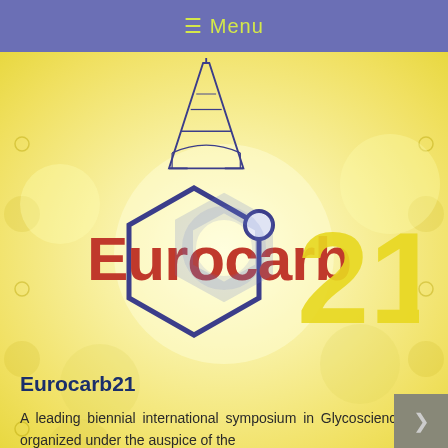☰ Menu
[Figure (logo): Eurocarb21 logo featuring the Eiffel Tower above a hexagonal molecular structure with the text 'Eurocarb' in red/blue and '21' in yellow, on a yellow radial background with decorative circles]
Eurocarb21
A leading biennial international symposium in Glycosciences, organized under the auspice of the